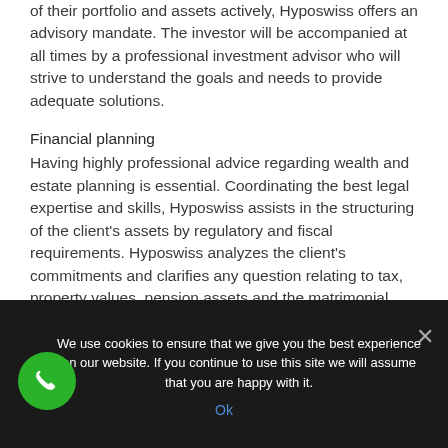of their portfolio and assets actively, Hyposwiss offers an advisory mandate. The investor will be accompanied at all times by a professional investment advisor who will strive to understand the goals and needs to provide adequate solutions.
Financial planning
Having highly professional advice regarding wealth and estate planning is essential. Coordinating the best legal expertise and skills, Hyposwiss assists in the structuring of the client's assets by regulatory and fiscal requirements. Hyposwiss analyzes the client's commitments and clarifies any question relating to tax, property values, pension assets and the matrimonial
We use cookies to ensure that we give you the best experience on our website. If you continue to use this site we will assume that you are happy with it.
Ok